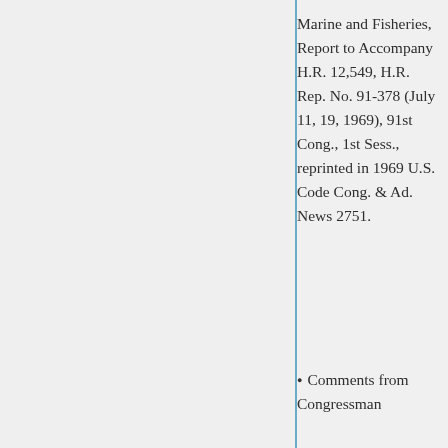Marine and Fisheries, Report to Accompany H.R. 12,549, H.R. Rep. No. 91-378 (July 11, 19, 1969), 91st Cong., 1st Sess., reprinted in 1969 U.S. Code Cong. & Ad. News 2751.
Comments from Congressman